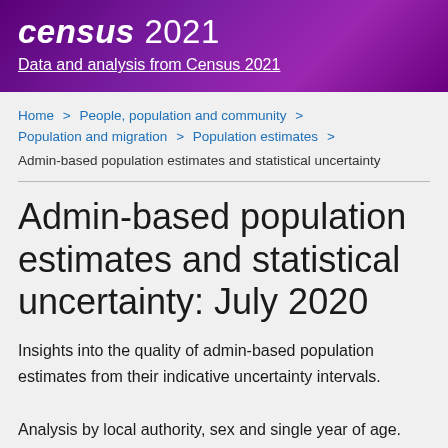census 2021
Data and analysis from Census 2021
Home > People, population and community > Population and migration > Population estimates >
Admin-based population estimates and statistical uncertainty
Admin-based population estimates and statistical uncertainty: July 2020
Insights into the quality of admin-based population estimates from their indicative uncertainty intervals. Analysis by local authority, sex and single year of age.